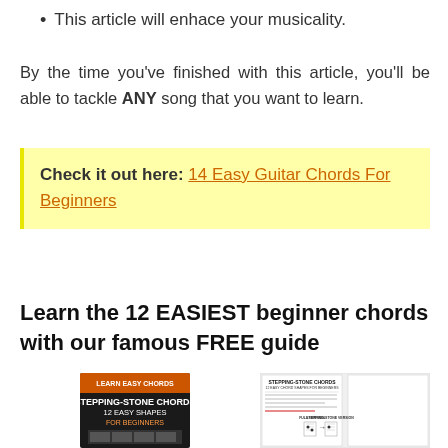This article will enhace your musicality.
By the time you've finished with this article, you'll be able to tackle ANY song that you want to learn.
Check it out here: 14 Easy Guitar Chords For Beginners
Learn the 12 EASIEST beginner chords with our famous FREE guide
[Figure (photo): Book cover showing 'Stepping-Stone Chords 12 Easy Shapes For Beginners' with orange and black design]
[Figure (photo): Spread pages of the Stepping-Stone Chords guide showing chord diagrams and instructions]